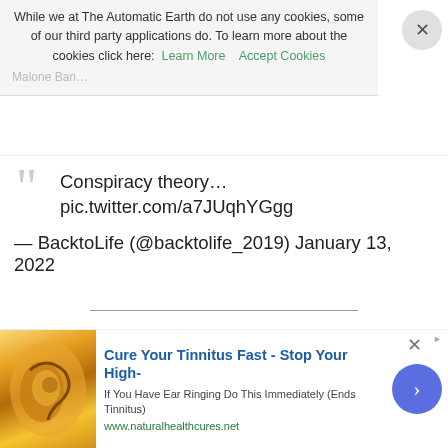While we at The Automatic Earth do not use any cookies, some of our third party applications do. To learn more about the cookies click here: Learn More   Accept Cookies
Malone Ban…
Conspiracy theory… pic.twitter.com/a7JUqhYGgg
— BacktoLife (@backtolife_2019) January 13, 2022
Valencia
Police officers in Valencia: "We are with the people, not with corrupt politicians. We are in contact with Portugal, Italy, France, Austria, Switzerland, Sweden, Germany and Holland to unite all the
[Figure (other): Advertisement: Cure Your Tinnitus Fast - Stop Your High-. If You Have Ear Ringing Do This Immediately (Ends Tinnitus). www.naturalhealthcures.net. Shows an ear illustration.]